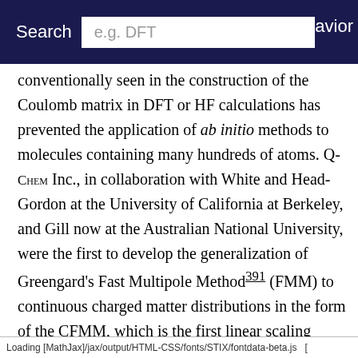Search  e.g. DFT  [partial: ...havior]
conventionally seen in the construction of the Coulomb matrix in DFT or HF calculations has prevented the application of ab initio methods to molecules containing many hundreds of atoms. Q-Chem Inc., in collaboration with White and Head-Gordon at the University of California at Berkeley, and Gill now at the Australian National University, were the first to develop the generalization of Greengard's Fast Multipole Method^391 (FMM) to continuous charged matter distributions in the form of the CFMM, which is the first linear scaling algorithm for DFT calculations. This initial breakthrough has since lead to an increasing number of linear scaling alternatives and
Loading [MathJax]/jax/output/HTML-CSS/fonts/STIX/fontdata-beta.js  [